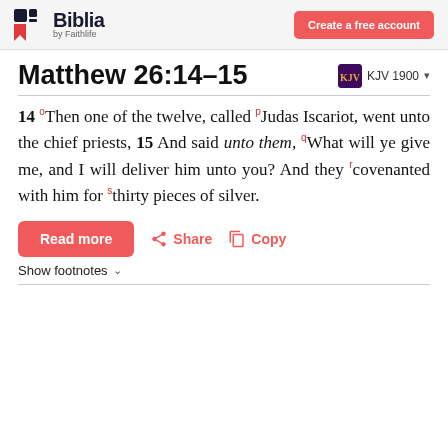Biblia by Faithlife | Create a free account
Matthew 26:14–15
14 °Then one of the twelve, called ᴾJudas Iscariot, went unto the chief priests, 15 And said unto them, ᵠWhat will ye give me, and I will deliver him unto you? And they ʳcovenanted with him for ˢthirty pieces of silver.
Read more | Share | Copy
Show footnotes